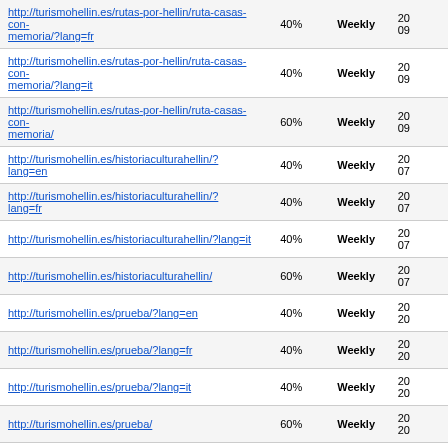| URL | Priority | Change Frequency | Last Modified |
| --- | --- | --- | --- |
| http://turismohellin.es/rutas-por-hellin/ruta-casas-con-memoria/?lang=fr | 40% | Weekly | 20
09 |
| http://turismohellin.es/rutas-por-hellin/ruta-casas-con-memoria/?lang=it | 40% | Weekly | 20
09 |
| http://turismohellin.es/rutas-por-hellin/ruta-casas-con-memoria/ | 60% | Weekly | 20
09 |
| http://turismohellin.es/historiaculturahellin/?lang=en | 40% | Weekly | 20
07 |
| http://turismohellin.es/historiaculturahellin/?lang=fr | 40% | Weekly | 20
07 |
| http://turismohellin.es/historiaculturahellin/?lang=it | 40% | Weekly | 20
07 |
| http://turismohellin.es/historiaculturahellin/ | 60% | Weekly | 20
07 |
| http://turismohellin.es/prueba/?lang=en | 40% | Weekly | 20
20 |
| http://turismohellin.es/prueba/?lang=fr | 40% | Weekly | 20
20 |
| http://turismohellin.es/prueba/?lang=it | 40% | Weekly | 20
20 |
| http://turismohellin.es/prueba/ | 60% | Weekly | 20
20 |
| http://turismohellin.es/semana-santa-en-hellin/?lang=en | 40% | Weekly | 20
13 |
| http://turismohellin.es/semana-santa-en-hellin/?lang=fr | 40% | Weekly | 20
13 |